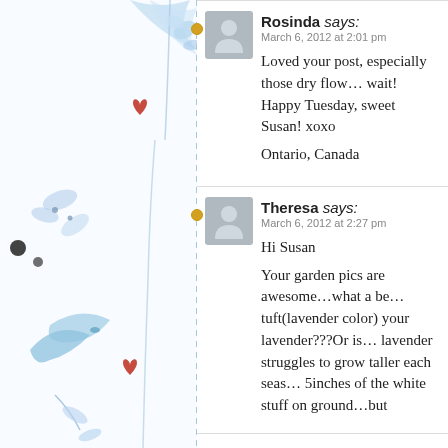[Figure (illustration): Decorative floral watercolor illustration on left sidebar with blue flowers, leaves, red hearts, and black dots. A vertical dashed blue line separates sidebar from comment content. Orange/gold circular dots appear on the line at each comment.]
Rosinda says:
March 6, 2012 at 2:01 pm

Loved your post, especially those dry flow… wait! Happy Tuesday, sweet Susan! xoxo

Ontario, Canada
Theresa says:
March 6, 2012 at 2:27 pm

Hi Susan

Your garden pics are awesome…what a be… tuft(lavender color) your lavender???Or is… lavender struggles to grow taller each seas… 5inches of the white stuff on ground…but